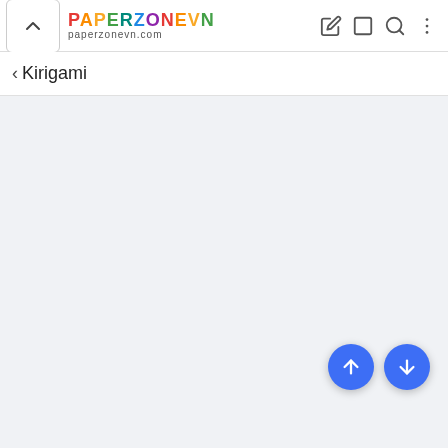[Figure (screenshot): Mobile browser top bar with PaperZoneVN logo and navigation icons]
< Kirigami
[Figure (screenshot): Two blue circular FAB buttons with up and down arrows for page navigation]